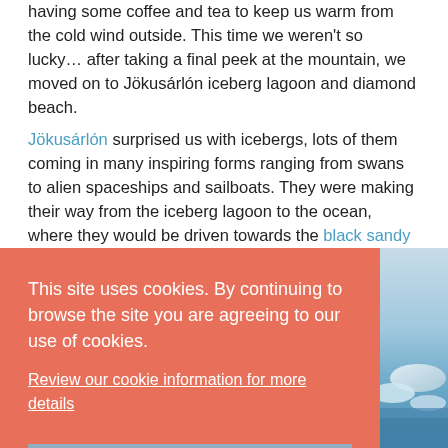having some coffee and tea to keep us warm from the cold wind outside. This time we weren't so lucky… after taking a final peek at the mountain, we moved on to Jökusárlón iceberg lagoon and diamond beach.
Jökusárlón surprised us with icebergs, lots of them coming in many inspiring forms ranging from swans to alien spaceships and sailboats. They were making their way from the iceberg lagoon to the ocean, where they would be driven towards the black sandy beach again and again by strong waves. A perfect place for … and the … just
[Figure (photo): Photo of icebergs in a blue lagoon with sky, partially visible on the right side of the page]
[Figure (photo): Partially visible photo at the bottom left, showing a dark rocky or icy landscape]
This site uses cookies. By continuing to browse the site you are agreeing to our use of cookies.
Review our cookie information for more details
Got it!